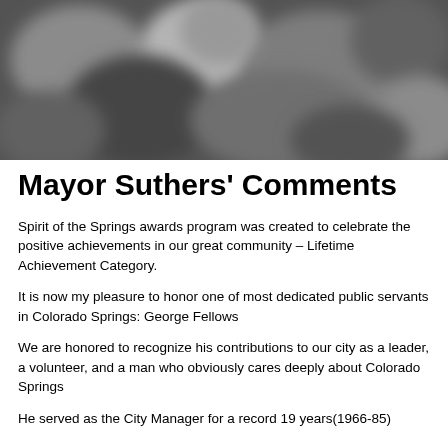[Figure (photo): Black and white blurred abstract photo, possibly flowers or foliage, spanning the top of the page]
Mayor Suthers' Comments
Spirit of the Springs awards program was created to celebrate the positive achievements in our great community – Lifetime Achievement Category.
It is now my pleasure to honor one of most dedicated public servants in Colorado Springs: George Fellows
We are honored to recognize his contributions to our city as a leader, a volunteer, and a man who obviously cares deeply about Colorado Springs
He served as the City Manager for a record 19 years(1966-85) [continued below]